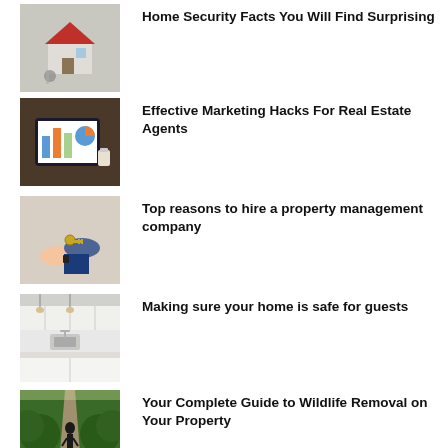[Figure (photo): Small model house with keys on a table, red roof]
Home Security Facts You Will Find Surprising
[Figure (photo): Tablet showing charts and graphs on a desk with a cup]
Effective Marketing Hacks For Real Estate Agents
[Figure (photo): Person handing keys to another person]
Top reasons to hire a property management company
[Figure (photo): Modern kitchen interior with white cabinets and countertop]
Making sure your home is safe for guests
[Figure (photo): Person silhouette walking on a tree-lined path]
Your Complete Guide to Wildlife Removal on Your Property